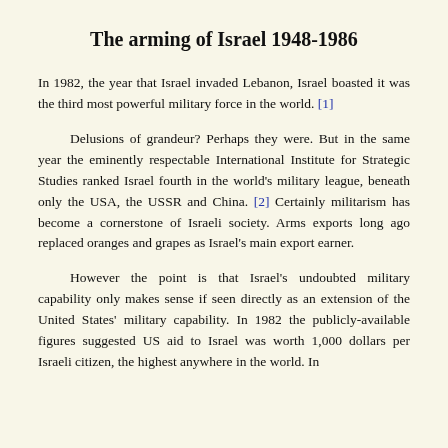The arming of Israel 1948-1986
In 1982, the year that Israel invaded Lebanon, Israel boasted it was the third most powerful military force in the world. [1]
Delusions of grandeur? Perhaps they were. But in the same year the eminently respectable International Institute for Strategic Studies ranked Israel fourth in the world's military league, beneath only the USA, the USSR and China. [2] Certainly militarism has become a cornerstone of Israeli society. Arms exports long ago replaced oranges and grapes as Israel's main export earner.
However the point is that Israel's undoubted military capability only makes sense if seen directly as an extension of the United States' military capability. In 1982 the publicly-available figures suggested US aid to Israel was worth 1,000 dollars per Israeli citizen, the highest anywhere in the world. In